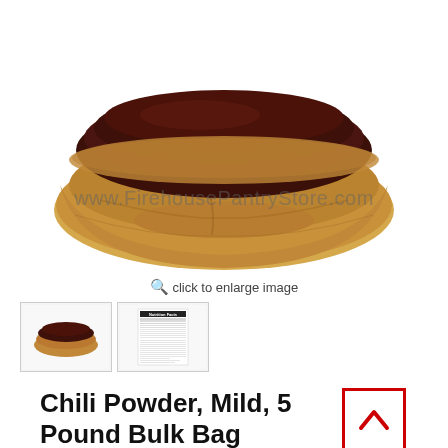[Figure (photo): Wooden bowl filled with dark red-brown chili powder, on white background, with watermark text www.FirehousePantryStore.com overlaid in gray]
🔍 click to enlarge image
[Figure (photo): Thumbnail of chili powder in wooden bowl]
[Figure (photo): Thumbnail of nutrition facts label]
Chili Powder, Mild, 5 Pound Bulk Bag
Item#  LbChiliPowder5
$35.14  $50.70